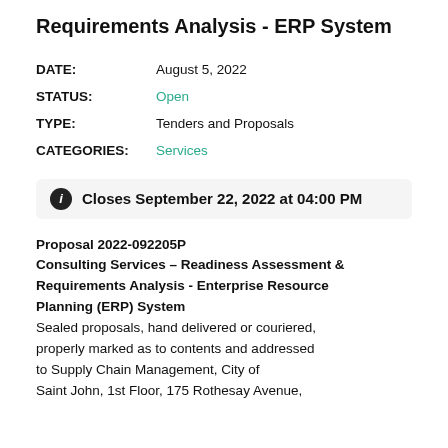Requirements Analysis - ERP System
| Field | Value |
| --- | --- |
| DATE: | August 5, 2022 |
| STATUS: | Open |
| TYPE: | Tenders and Proposals |
| CATEGORIES: | Services |
Closes September 22, 2022 at 04:00 PM
Proposal 2022-092205P
Consulting Services – Readiness Assessment & Requirements Analysis - Enterprise Resource Planning (ERP) System
Sealed proposals, hand delivered or couriered, properly marked as to contents and addressed to Supply Chain Management, City of Saint John, 1st Floor, 175 Rothesay Avenue,